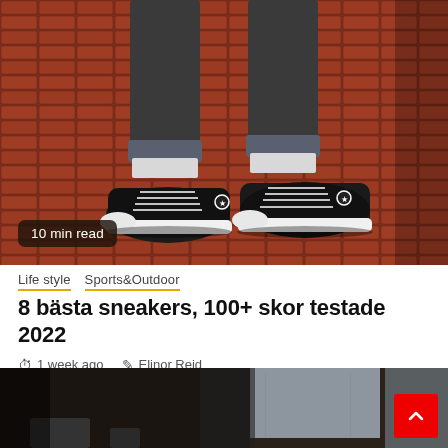[Figure (photo): Close-up photo of a person wearing black high-top Converse Chuck Taylor sneakers with white laces and soles, standing on a red-brown geometric patterned brick/tile floor. Lower legs visible in dark jeans with cuffs rolled up.]
10 min read
Life style  Sports&Outdoor
8 bästa sneakers, 100+ skor testade 2022
1 week ago  Elinor Reid
[Figure (photo): Partial view of a room interior, appears to be a hotel or apartment room with dark curtains, a window with daylight, and some furniture visible.]